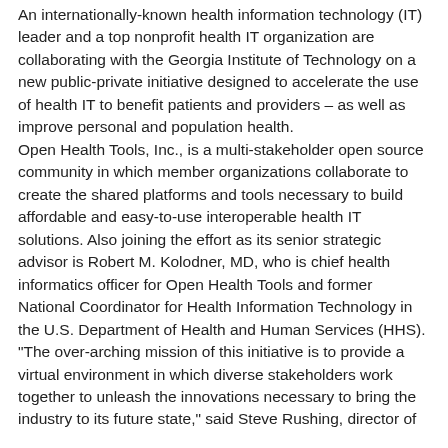An internationally-known health information technology (IT) leader and a top nonprofit health IT organization are collaborating with the Georgia Institute of Technology on a new public-private initiative designed to accelerate the use of health IT to benefit patients and providers – as well as improve personal and population health. Open Health Tools, Inc., is a multi-stakeholder open source community in which member organizations collaborate to create the shared platforms and tools necessary to build affordable and easy-to-use interoperable health IT solutions. Also joining the effort as its senior strategic advisor is Robert M. Kolodner, MD, who is chief health informatics officer for Open Health Tools and former National Coordinator for Health Information Technology in the U.S. Department of Health and Human Services (HHS). "The over-arching mission of this initiative is to provide a virtual environment in which diverse stakeholders work together to unleash the innovations necessary to bring the industry to its future state," said Steve Rushing, director of